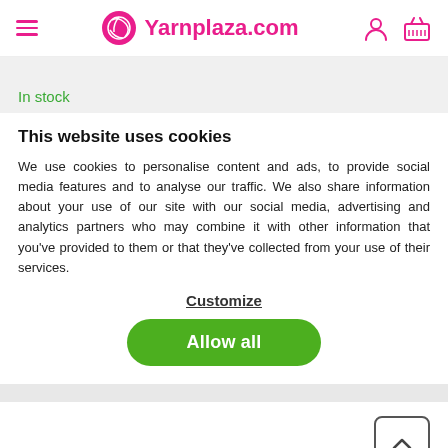Yarnplaza.com
In stock
This website uses cookies
We use cookies to personalise content and ads, to provide social media features and to analyse our traffic. We also share information about your use of our site with our social media, advertising and analytics partners who may combine it with other information that you've provided to them or that they've collected from your use of their services.
Customize
Allow all
Product description